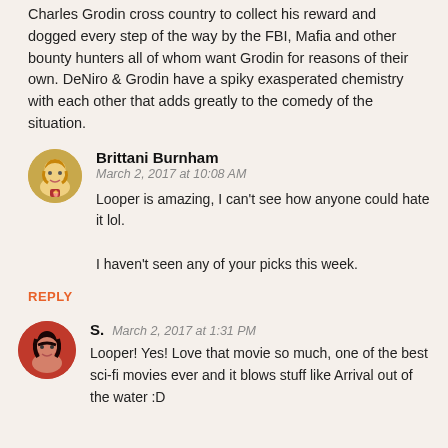Charles Grodin cross country to collect his reward and dogged every step of the way by the FBI, Mafia and other bounty hunters all of whom want Grodin for reasons of their own. DeNiro & Grodin have a spiky exasperated chemistry with each other that adds greatly to the comedy of the situation.
Brittani Burnham
March 2, 2017 at 10:08 AM

Looper is amazing, I can't see how anyone could hate it lol.

I haven't seen any of your picks this week.
REPLY
S.  March 2, 2017 at 1:31 PM

Looper! Yes! Love that movie so much, one of the best sci-fi movies ever and it blows stuff like Arrival out of the water :D